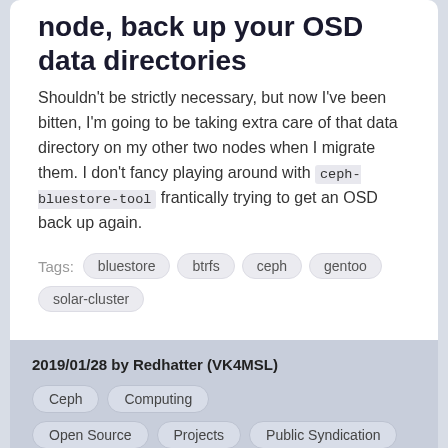node, back up your OSD data directories
Shouldn't be strictly necessary, but now I've been bitten, I'm going to be taking extra care of that data directory on my other two nodes when I migrate them. I don't fancy playing around with ceph-bluestore-tool frantically trying to get an OSD back up again.
Tags: bluestore  btrfs  ceph  gentoo  solar-cluster
2019/01/28 by Redhatter (VK4MSL)  Ceph  Computing  Open Source  Projects  Public Syndication  Solar-powered Cloud Computing  0